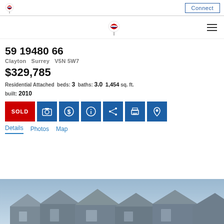RE/MAX — Connect
59 19480 66
Clayton  Surrey  V5N 5W7
$329,785
Residential Attached  beds: 3  baths: 3.0  1,454 sq. ft.  built: 2010
SOLD
Details  Photos  Map
[Figure (photo): Exterior photo of residential property rooftops against a blue sky]